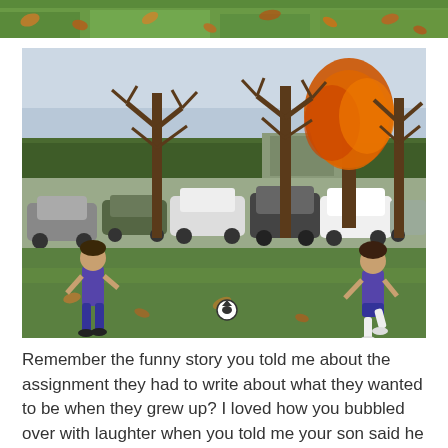[Figure (photo): Partial top strip showing grass with fallen leaves]
[Figure (photo): Two children in purple soccer uniforms playing soccer on a grass field with a parking lot and bare autumn trees in the background]
Remember the funny story you told me about the assignment they had to write about what they wanted to be when they grew up? I loved how you bubbled over with laughter when you told me your son said he